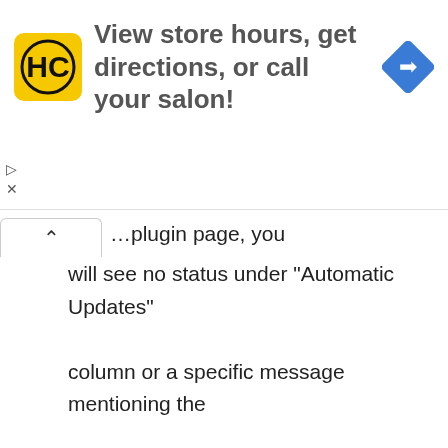[Figure (other): HC salon advertisement banner with yellow HC logo, text 'View store hours, get directions, or call your salon!' and blue navigation diamond icon]
will see no status under “Automatic Updates” column or a specific message mentioning the developer disabled this feature. Plugins like WP Rocket intentionally disable auto-updates as it can potentially break you site’s layout if you do not test after updating the plugin.

Whether you use automatic updates or not, you will see a notification under “Dashboard > Updates”...